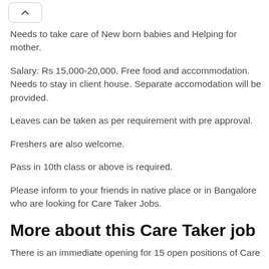Needs to take care of New born babies and Helping for mother.
Salary: Rs 15,000-20,000. Free food and accommodation. Needs to stay in client house. Separate accomodation will be provided.
Leaves can be taken as per requirement with pre approval.
Freshers are also welcome.
Pass in 10th class or above is required.
Please inform to your friends in native place or in Bangalore who are looking for Care Taker Jobs.
More about this Care Taker job
There is an immediate opening for 15 open positions of Care